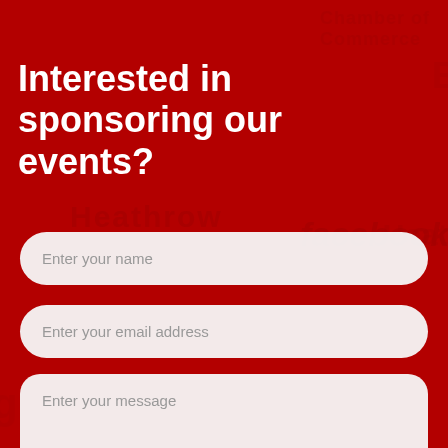Interested in sponsoring our events?
Enter your name
Enter your email address
Enter your message